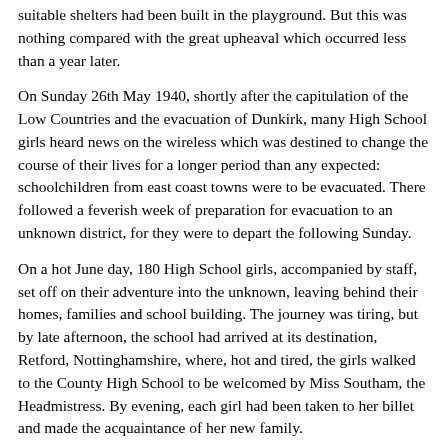suitable shelters had been built in the playground. But this was nothing compared with the great upheaval which occurred less than a year later.
On Sunday 26th May 1940, shortly after the capitulation of the Low Countries and the evacuation of Dunkirk, many High School girls heard news on the wireless which was destined to change the course of their lives for a longer period than any expected: schoolchildren from east coast towns were to be evacuated. There followed a feverish week of preparation for evacuation to an unknown district, for they were to depart the following Sunday.
On a hot June day, 180 High School girls, accompanied by staff, set off on their adventure into the unknown, leaving behind their homes, families and school building. The journey was tiring, but by late afternoon, the school had arrived at its destination, Retford, Nottinghamshire, where, hot and tired, the girls walked to the County High School to be welcomed by Miss Southam, the Headmistress. By evening, each girl had been taken to her billet and made the acquaintance of her new family.